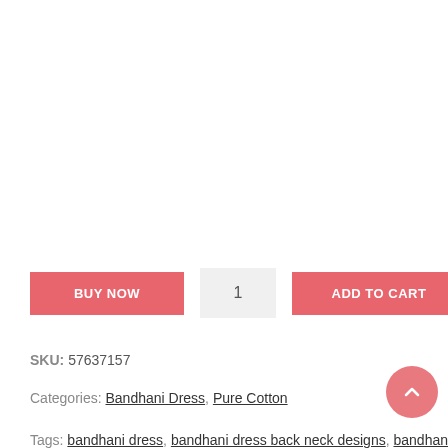BUY NOW | 1 | ADD TO CART
SKU: 57637157
Categories: Bandhani Dress, Pure Cotton
Tags: bandhani dress, bandhani dress back neck designs, bandhani